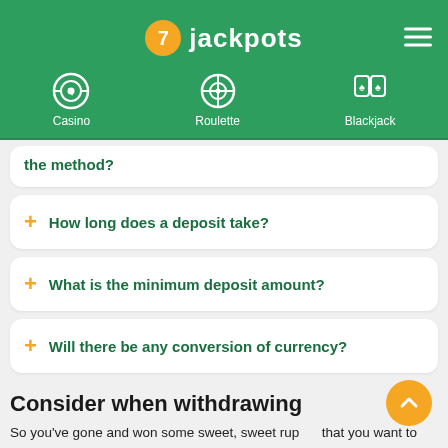7 jackpots — Casino | Roulette | Blackjack
… the method?
How long does a deposit take?
What is the minimum deposit amount?
Will there be any conversion of currency?
Consider when withdrawing
So you've gone and won some sweet, sweet rup… that you want to withdraw? Using this method to c… out your funds from a PhonePe casino site is easy, just